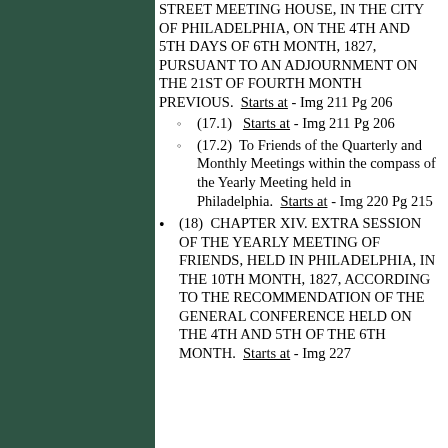STREET MEETING HOUSE, IN THE CITY OF PHILADELPHIA, ON THE 4TH AND 5TH DAYS OF 6TH MONTH, 1827, PURSUANT TO AN ADJOURNMENT ON THE 21ST OF FOURTH MONTH PREVIOUS. Starts at - Img 211 Pg 206
(17.1) Starts at - Img 211 Pg 206
(17.2) To Friends of the Quarterly and Monthly Meetings within the compass of the Yearly Meeting held in Philadelphia. Starts at - Img 220 Pg 215
(18) CHAPTER XIV. EXTRA SESSION OF THE YEARLY MEETING OF FRIENDS, HELD IN PHILADELPHIA, IN THE 10TH MONTH, 1827, ACCORDING TO THE RECOMMENDATION OF THE GENERAL CONFERENCE HELD ON THE 4TH AND 5TH OF THE 6TH MONTH. Starts at - Img 227